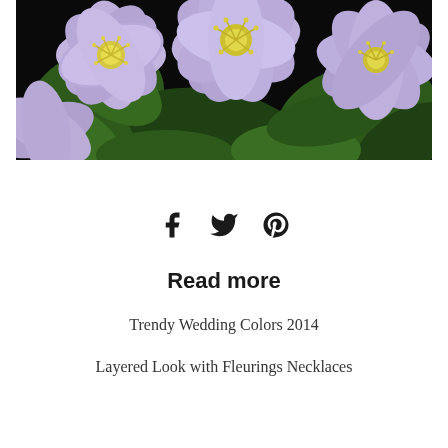[Figure (photo): Close-up photograph of purple/lavender clematis flowers with yellow centers and green leaves in the background]
[Figure (other): Social media icons: Facebook, Twitter, Pinterest]
Read more
Trendy Wedding Colors 2014
Layered Look with Fleurings Necklaces